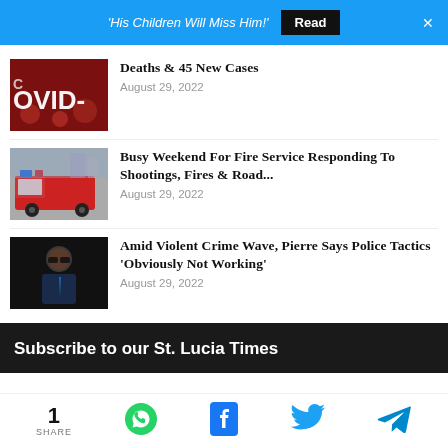'His Children Will Miss Him!'  Read  ×
Deaths & 45 New Cases
August 29, 2022
Busy Weekend For Fire Service Responding To Shootings, Fires & Road...
August 29, 2022
Amid Violent Crime Wave, Pierre Says Police Tactics 'Obviously Not Working'
August 29, 2022
Subscribe to our St. Lucia Times
1 SHARE